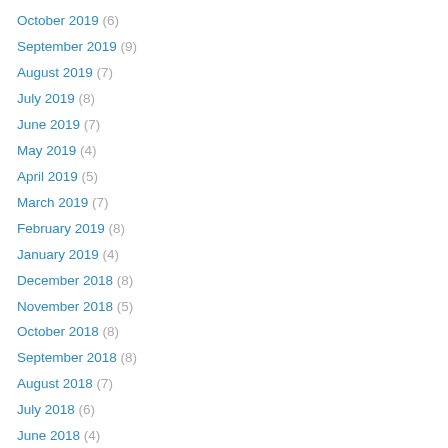October 2019 (6)
September 2019 (9)
August 2019 (7)
July 2019 (8)
June 2019 (7)
May 2019 (4)
April 2019 (5)
March 2019 (7)
February 2019 (8)
January 2019 (4)
December 2018 (8)
November 2018 (5)
October 2018 (8)
September 2018 (8)
August 2018 (7)
July 2018 (6)
June 2018 (4)
May 2018 (6)
April 2018 (5)
March 2018 (8)